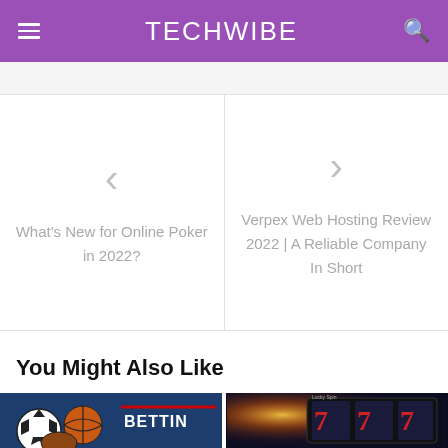TECHWIBE
< What's New for Online Poker in 2022?
> Verpex Web Hosting Review 2022 | A Reliable Company In Short
You Might Also Like
[Figure (photo): Sports betting image with soccer ball, basketball, and 'BETTING' text on dark blue background]
[Figure (photo): Slot machine showing Lucky Spin with red 7s on dark background with bright light flare]